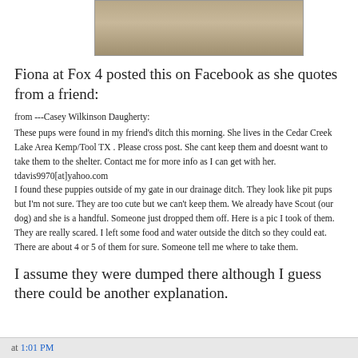[Figure (photo): Photo of puppies in autumn leaves, partially visible at top of page]
Fiona at Fox 4 posted this on Facebook as she quotes from a friend:
from ---Casey Wilkinson Daugherty:
These pups were found in my friend's ditch this morning. She lives in the Cedar Creek Lake Area Kemp/Tool TX . Please cross post. She cant keep them and doesnt want to take them to the shelter. Contact me for more info as I can get with her. tdavis9970[at]yahoo.com
I found these puppies outside of my gate in our drainage ditch. They look like pit pups but I'm not sure. They are too cute but we can't keep them. We already have Scout (our dog) and she is a handful. Someone just dropped them off. Here is a pic I took of them. They are really scared. I left some food and water outside the ditch so they could eat. There are about 4 or 5 of them for sure. Someone tell me where to take them.
I assume they were dumped there although I guess there could be another explanation.
at 1:01 PM